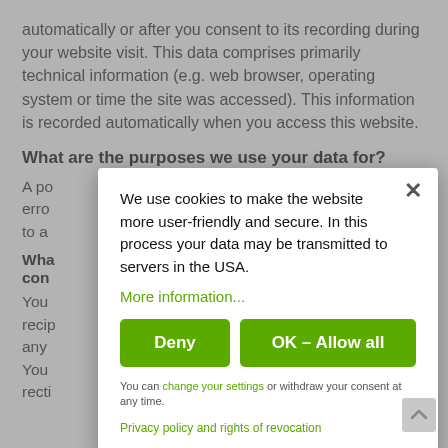automatically or after you consent to its recording during your website visit. This data comprises primarily technical information (e.g. web browser, operating system or time the site was accessed). This information is recorded automatically when you access this website.
What are the purposes we use your data for?
A po... he erro... sed to a...
Wha... cond...
You... rce, recip... at any... es. You... recti...
[Figure (screenshot): Cookie consent modal dialog with close button (×), text 'We use cookies to make the website more user-friendly and secure. In this process your data may be transmitted to servers in the USA.', a green 'More information...' link, two green buttons labeled 'Deny' and 'OK – Allow all', a footer note 'You can change your settings or withdraw your consent at any time.' with green link 'change your settings', and a green link 'Privacy policy and rights of revocation'.]